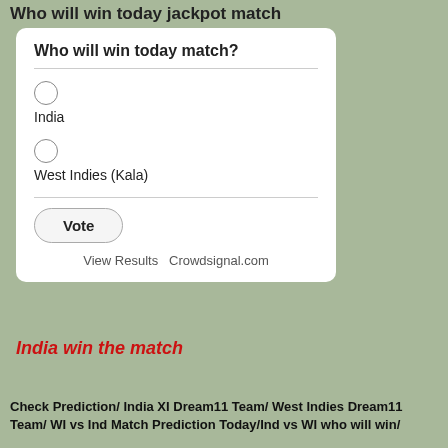Who will win today jackpot match
[Figure (other): Poll widget titled 'Who will win today match?' with two radio options: India and West Indies (Kala), a Vote button, and links for View Results and Crowdsignal.com]
India win the match
Check Prediction/ India XI Dream11 Team/ West Indies Dream11 Team/ WI vs Ind Match Prediction Today/Ind vs WI who will win/